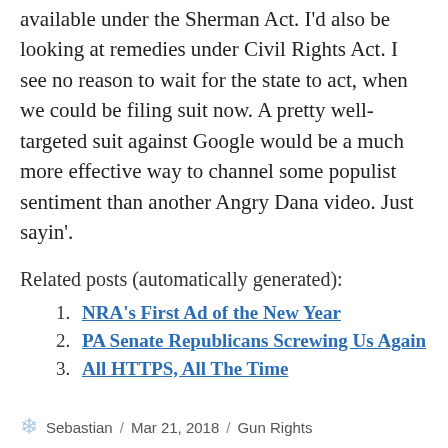available under the Sherman Act. I'd also be looking at remedies under Civil Rights Act. I see no reason to wait for the state to act, when we could be filing suit now. A pretty well-targeted suit against Google would be a much more effective way to channel some populist sentiment than another Angry Dana video. Just sayin'.
Related posts (automatically generated):
NRA's First Ad of the New Year
PA Senate Republicans Screwing Us Again
All HTTPS, All The Time
Sebastian / Mar 21, 2018 / Gun Rights